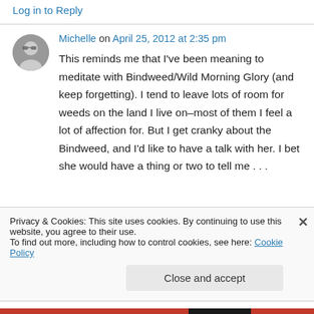Log in to Reply
Michelle on April 25, 2012 at 2:35 pm
This reminds me that I've been meaning to meditate with Bindweed/Wild Morning Glory (and keep forgetting). I tend to leave lots of room for weeds on the land I live on–most of them I feel a lot of affection for. But I get cranky about the Bindweed, and I'd like to have a talk with her. I bet she would have a thing or two to tell me . . .
Privacy & Cookies: This site uses cookies. By continuing to use this website, you agree to their use.
To find out more, including how to control cookies, see here: Cookie Policy
Close and accept